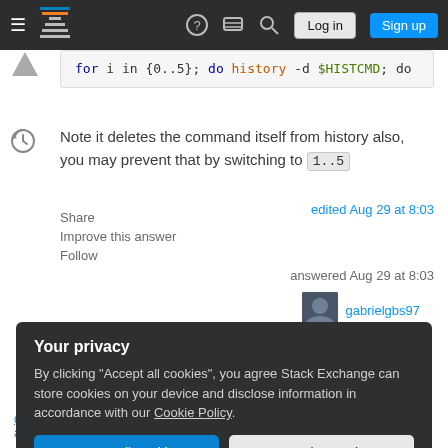Stack Exchange navigation bar with hamburger menu, logo, help, chat, search, Log in, Sign up buttons
[Figure (screenshot): Code block showing: for i in {0..5}; do history -d $HISTCMD; do]
Note it deletes the command itself from history also, you may prevent that by switching to 1..5
Share
Improve this answer
Follow
edited Aug 29 at 8:03
answered Aug 29 at 8:03
gabrielgbs97
Your privacy
By clicking "Accept all cookies", you agree Stack Exchange can store cookies on your device and disclose information in accordance with our Cookie Policy.
Accept all cookies   Customize settings
don't require clarification from the asker. · From Review · Stephen Kitt Aug 29 at 8:29